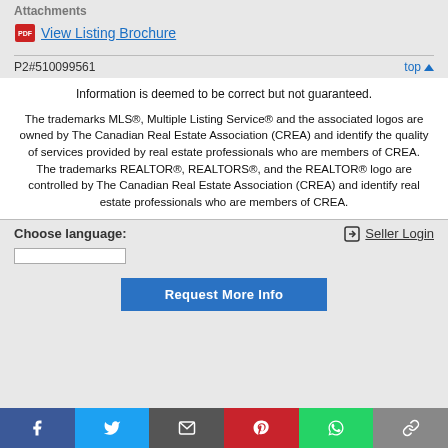Attachments
View Listing Brochure
P2#510099561
Information is deemed to be correct but not guaranteed.
The trademarks MLS®, Multiple Listing Service® and the associated logos are owned by The Canadian Real Estate Association (CREA) and identify the quality of services provided by real estate professionals who are members of CREA. The trademarks REALTOR®, REALTORS®, and the REALTOR® logo are controlled by The Canadian Real Estate Association (CREA) and identify real estate professionals who are members of CREA.
Choose language:
Seller Login
Request More Info